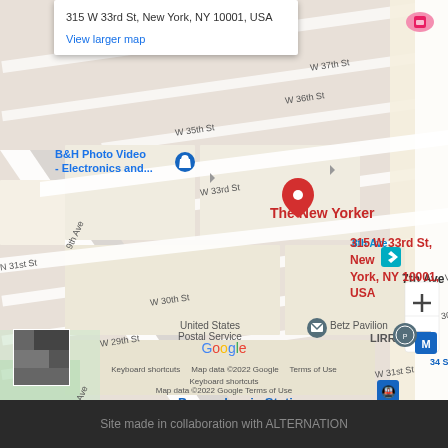[Figure (map): Google Maps screenshot showing 315 W 33rd St, New York, NY 10001, USA near Pennsylvania Station, with street labels for W 29th–38th Sts, 7th–9th Aves, and landmarks including The New Yorker hotel, B&H Photo Video, United States Postal Service, Betz Pavilion, and LIRR. A red pin marks 315 W 33rd St.]
315 W 33rd St, New York, NY 10001, USA
View larger map
Keyboard shortcuts   Map data ©2022 Google   Terms of Use
Site made in collaboration with ALTERNATION